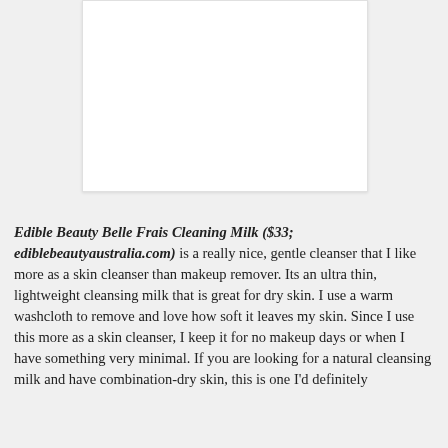[Figure (photo): Product image placeholder — white rectangle representing Edible Beauty Belle Frais Cleaning Milk product photo]
Edible Beauty Belle Frais Cleaning Milk ($33; ediblebeautyaustralia.com) is a really nice, gentle cleanser that I like more as a skin cleanser than makeup remover. Its an ultra thin, lightweight cleansing milk that is great for dry skin. I use a warm washcloth to remove and love how soft it leaves my skin. Since I use this more as a skin cleanser, I keep it for no makeup days or when I have something very minimal. If you are looking for a natural cleansing milk and have combination-dry skin, this is one I'd definitely